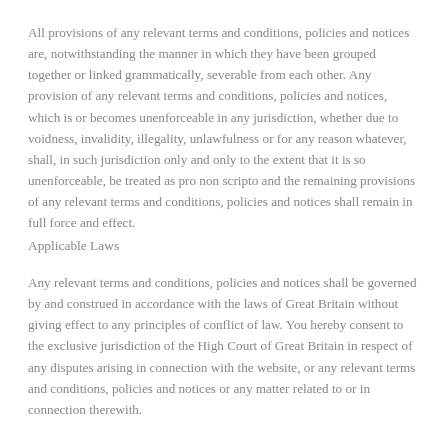All provisions of any relevant terms and conditions, policies and notices are, notwithstanding the manner in which they have been grouped together or linked grammatically, severable from each other. Any provision of any relevant terms and conditions, policies and notices, which is or becomes unenforceable in any jurisdiction, whether due to voidness, invalidity, illegality, unlawfulness or for any reason whatever, shall, in such jurisdiction only and only to the extent that it is so unenforceable, be treated as pro non scripto and the remaining provisions of any relevant terms and conditions, policies and notices shall remain in full force and effect.
Applicable Laws
Any relevant terms and conditions, policies and notices shall be governed by and construed in accordance with the laws of Great Britain without giving effect to any principles of conflict of law. You hereby consent to the exclusive jurisdiction of the High Court of Great Britain in respect of any disputes arising in connection with the website, or any relevant terms and conditions, policies and notices or any matter related to or in connection therewith.